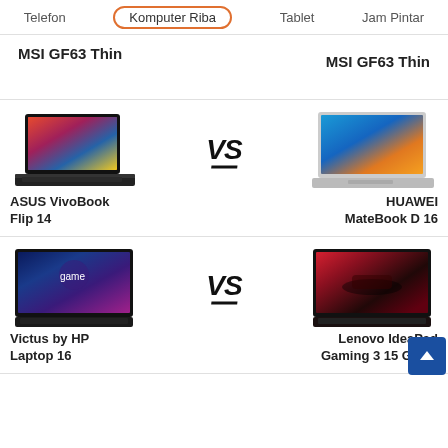Telefon | Komputer Riba | Tablet | Jam Pintar
MSI GF63 Thin vs MSI GF63 Thin
[Figure (screenshot): ASUS VivoBook Flip 14 vs HUAWEI MateBook D 16 comparison row with laptop images and VS badge]
[Figure (screenshot): Victus by HP Laptop 16 vs Lenovo IdeaPad Gaming 3 15 Gen 6 comparison row with laptop images and VS badge]